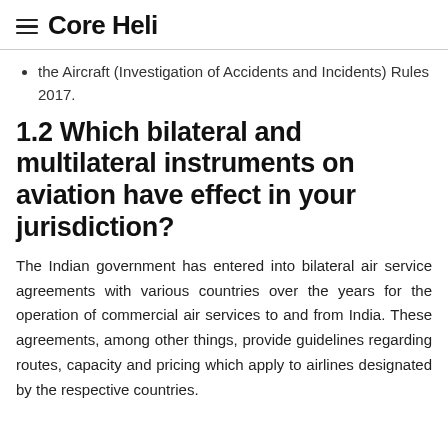Core Heli
the Aircraft (Investigation of Accidents and Incidents) Rules 2017.
1.2 Which bilateral and multilateral instruments on aviation have effect in your jurisdiction?
The Indian government has entered into bilateral air service agreements with various countries over the years for the operation of commercial air services to and from India. These agreements, among other things, provide guidelines regarding routes, capacity and pricing which apply to airlines designated by the respective countries.